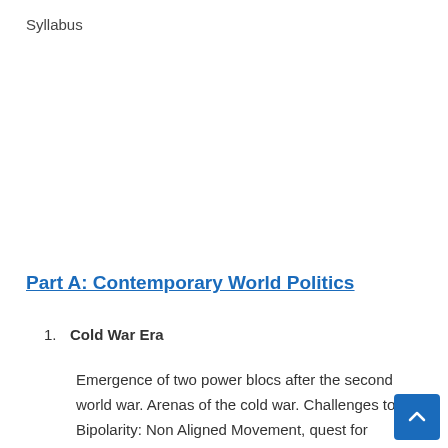Syllabus
Part A: Contemporary World Politics
Cold War Era
Emergence of two power blocs after the second world war. Arenas of the cold war. Challenges to Bipolarity: Non Aligned Movement, quest for